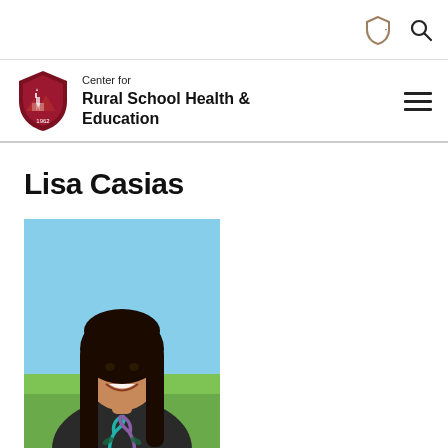Center for Rural School Health & Education
Lisa Casias
[Figure (photo): Headshot photo of Lisa Casias, a woman with long dark hair, smiling, wearing a dark t-shirt with a teal and purple awareness ribbon graphic, outdoors with a green field and blue sky in the background.]